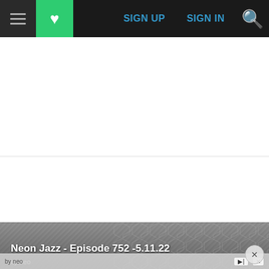SIGN UP | SIGN IN
ADVERTISEMENT
By Joe Dimino | Neon Jazz
May 22, 2022
Sign in to view read count
[Figure (screenshot): Partial image of article header showing 'Neon Jazz - Episode 752 -5.11.22' with a concrete-textured background and an ad overlay at the bottom]
Neon Jazz - Episode 752 -5.11.22
by neo